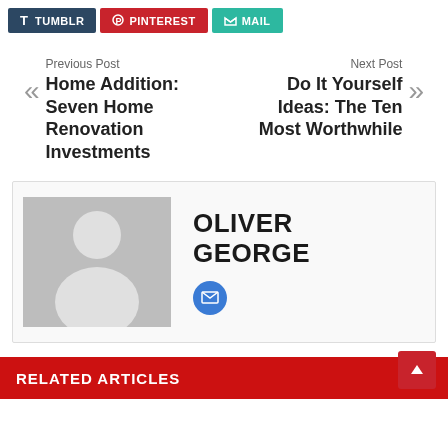[Figure (infographic): Social share buttons: Tumblr (dark blue), Pinterest (red), Mail (teal)]
Previous Post
Home Addition: Seven Home Renovation Investments
Next Post
Do It Yourself Ideas: The Ten Most Worthwhile
[Figure (photo): Author avatar placeholder - grey silhouette of a person]
OLIVER GEORGE
[Figure (infographic): Blue circle email icon]
RELATED ARTICLES